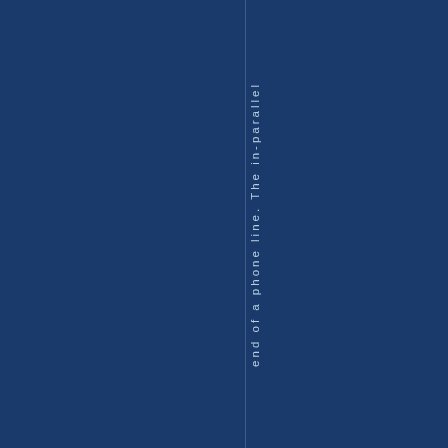end of a phone line. The in-parallel